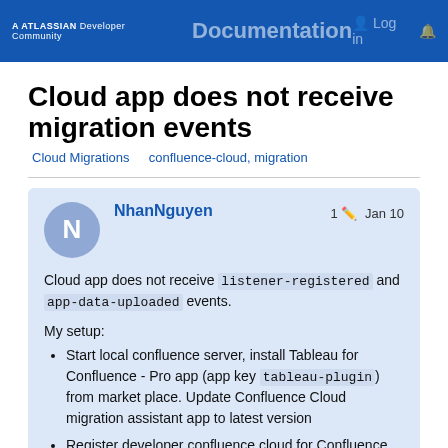A ATLASSIAN Developer Community  Documentation  Log in
Cloud app does not receive migration events
Cloud Migrations   confluence-cloud, migration
NhanNguyen  1  Jan 10
Cloud app does not receive listener-registered and app-data-uploaded events.
My setup:
Start local confluence server, install Tableau for Confluence - Pro app (app key tableau-plugin) from market place. Update Confluence Cloud migration assistant app to latest version
Register developer confluence cloud for Confluence app (app key tabl…
1 / 8